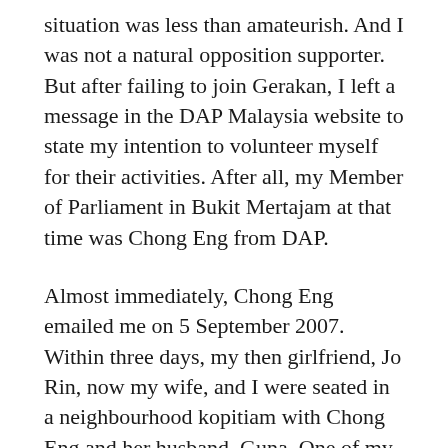situation was less than amateurish. And I was not a natural opposition supporter. But after failing to join Gerakan, I left a message in the DAP Malaysia website to state my intention to volunteer myself for their activities. After all, my Member of Parliament in Bukit Mertajam at that time was Chong Eng from DAP.
Almost immediately, Chong Eng emailed me on 5 September 2007. Within three days, my then girlfriend, Jo Rin, now my wife, and I were seated in a neighbourhood kopitiam with Chong Eng and her husband, Guna. One of my first impressions of Chong Eng was how her car was “poorer” than mine; I drove a Proton Saga while she, a red Kancil. In a strange way, that was also one of my earliest political awareness: I always thought that YBs are super rich. Something was different with DAP.